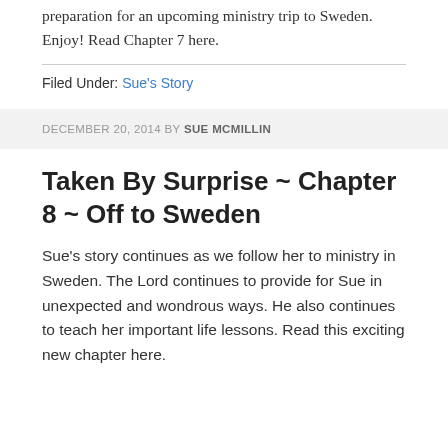preparation for an upcoming ministry trip to Sweden. Enjoy! Read Chapter 7 here.
Filed Under: Sue's Story
DECEMBER 20, 2014 BY SUE MCMILLIN
Taken By Surprise ~ Chapter 8 ~ Off to Sweden
Sue's story continues as we follow her to ministry in Sweden. The Lord continues to provide for Sue in unexpected and wondrous ways. He also continues to teach her important life lessons. Read this exciting new chapter here.